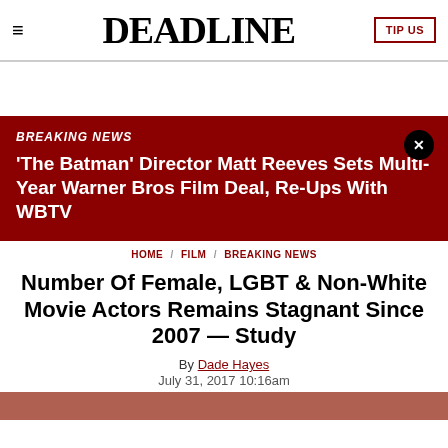≡  DEADLINE  TIP US
[Figure (other): Breaking news banner with dark red background. Label: BREAKING NEWS. Headline: 'The Batman' Director Matt Reeves Sets Multi-Year Warner Bros Film Deal, Re-Ups With WBTV. Close button in top right.]
HOME / FILM / BREAKING NEWS
Number Of Female, LGBT & Non-White Movie Actors Remains Stagnant Since 2007 — Study
By Dade Hayes
July 31, 2017 10:16am